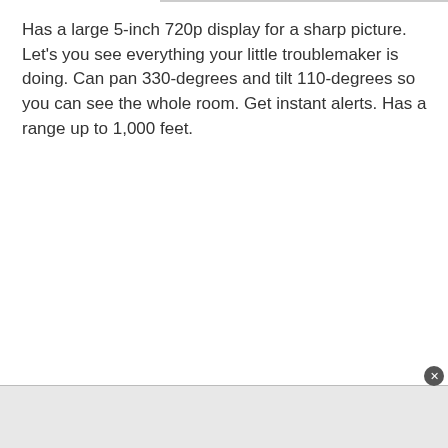Has a large 5-inch 720p display for a sharp picture. Let's you see everything your little troublemaker is doing. Can pan 330-degrees and tilt 110-degrees so you can see the whole room. Get instant alerts. Has a range up to 1,000 feet.
[Figure (photo): Broken/unloaded image placeholder with red border and alt text reading 'Eufy Security SpaceView 720p video baby monitor'. Image appears as a gray rectangle with a small broken image icon and the alt text overlaid in red. A small image icon is visible at top left.]